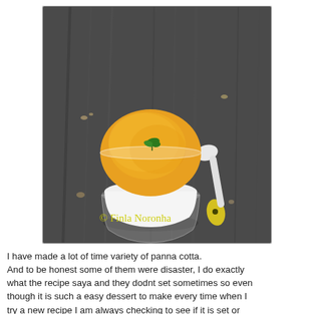[Figure (photo): A glass cup containing white panna cotta topped with yellow/orange mango coulis and a small green herb garnish, placed on a dark wood surface next to a white ceramic spoon with a yellow handle. Watermark text reads '© Finla Noronha' in yellow at the bottom of the image.]
I have made a lot of time variety of panna cotta. And to be honest some of them were disaster, I do exactly what the recipe saya and they dodnt set sometimes so even though it is such a easy dessert to make every time when I try a new recipe I am always checking to see if it is set or